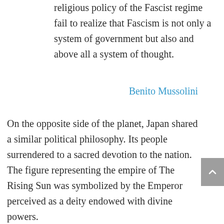religious policy of the Fascist regime fail to realize that Fascism is not only a system of government but also and above all a system of thought.
Benito Mussolini
On the opposite side of the planet, Japan shared a similar political philosophy. Its people surrendered to a sacred devotion to the nation. The figure representing the empire of The Rising Sun was symbolized by the Emperor perceived as a deity endowed with divine powers.